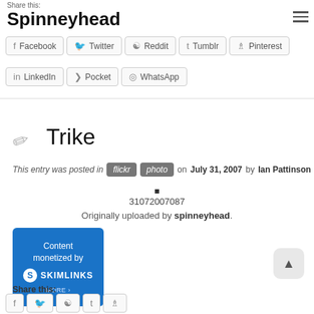Share this:
Spinneyhead
Facebook
Twitter
Reddit
Tumblr
Pinterest
LinkedIn
Pocket
WhatsApp
Trike
This entry was posted in flickr photo on July 31, 2007 by Ian Pattinson
31072007087
Originally uploaded by spinneyhead.
[Figure (logo): Content monetized by SKIMLINKS banner with blue background and logo]
Share this: